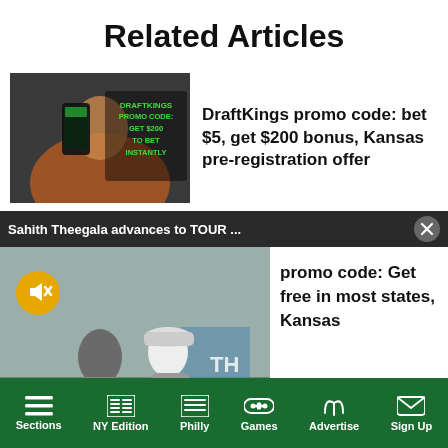Related Articles
[Figure (photo): DraftKings promo thumbnail showing a person holding a phone with green text overlay: DRAFTKINGS PROMO CODE: GET $200 TO BET INSTANTLY]
DraftKings promo code: bet $5, get $200 bonus, Kansas pre-registration offer
Sahith Theegala advances to TOUR ...
[Figure (screenshot): Video thumbnail of golf players walking on course, with mute button overlay]
promo code: Get free in most states, Kansas
Sections  NY Edition  Philly  Games  Advertise  Sign Up